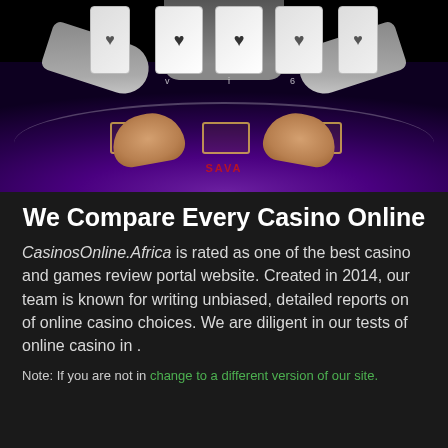[Figure (photo): A casino blackjack table viewed from above showing a dealer's hands on a purple felt table with playing cards displayed at the top showing heart suit cards, and betting areas on the table.]
We Compare Every Casino Online
CasinosOnline.Africa is rated as one of the best casino and games review portal website. Created in 2014, our team is known for writing unbiased, detailed reports on of online casino choices. We are diligent in our tests of online casino in .
Note: If you are not in change to a different version of our site.